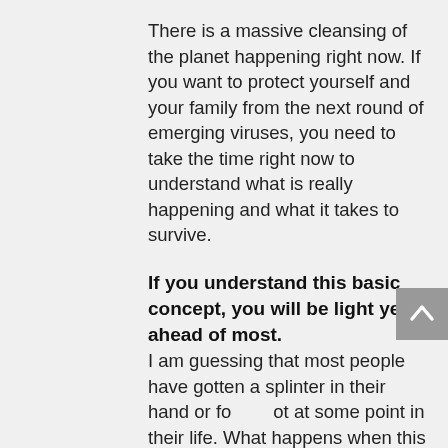There is a massive cleansing of the planet happening right now. If you want to protect yourself and your family from the next round of emerging viruses, you need to take the time right now to understand what is really happening and what it takes to survive.
If you understand this basic concept, you will be light years ahead of most. I am guessing that most people have gotten a splinter in their hand or foot at some point in their life. What happens when this occurs? The splinter is a foreign object that penetrates the skin destroying some